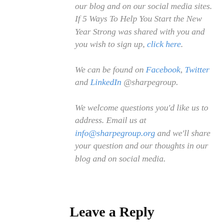our blog and on our social media sites. If 5 Ways To Help You Start the New Year Strong was shared with you and you wish to sign up, click here. We can be found on Facebook, Twitter and LinkedIn @sharpegroup. We welcome questions you'd like us to address. Email us at info@sharpegroup.org and we'll share your question and our thoughts in our blog and on social media.
Leave a Reply